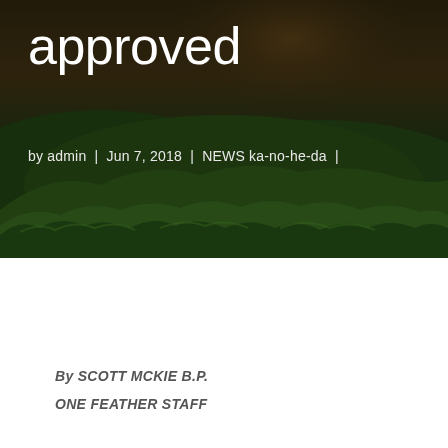[Figure (photo): Aerial or landscape photograph of a dense green forest covering rolling hills/mountains, with a dark atmospheric sky overhead. The image serves as a hero background for a news article.]
approved
by admin | Jun 7, 2018 | NEWS ka-no-he-da |
By SCOTT MCKIE B.P.
ONE FEATHER STAFF